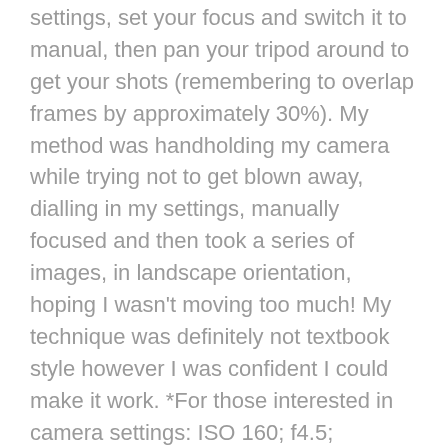settings, set your focus and switch it to manual, then pan your tripod around to get your shots (remembering to overlap frames by approximately 30%). My method was handholding my camera while trying not to get blown away, dialling in my settings, manually focused and then took a series of images, in landscape orientation, hoping I wasn't moving too much! My technique was definitely not textbook style however I was confident I could make it work. *For those interested in camera settings: ISO 160; f4.5; 1/1000th
The example below is not a frame by frame explanation, it is an overview of how easy it is to create a panorama image.